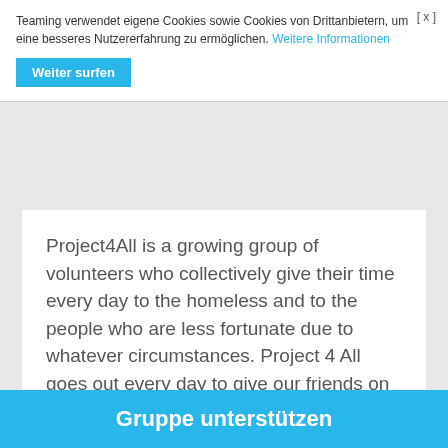Teaming verwendet eigene Cookies sowie Cookies von Drittanbietern, um eine besseres Nutzererfahrung zu ermöglichen. Weitere Informationen
Weiter surfen
Project4All is a growing group of volunteers who collectively give their time every day to the homeless and to the people who are less fortunate due to whatever circumstances. Project 4 All goes out every day to give our friends on the streets a hot meal, but we also distribute clean underwear, socks, warm clothing, sleeping bags & tents. Our goal is to bring a little love and
Gruppe unterstützen